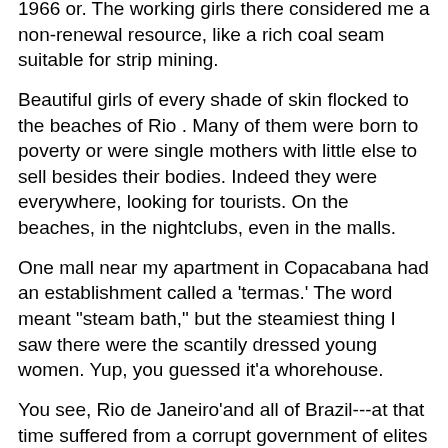1966 or. The working girls there considered me a non-renewal resource, like a rich coal seam suitable for strip mining.
Beautiful girls of every shade of skin flocked to the beaches of Rio . Many of them were born to poverty or were single mothers with little else to sell besides their bodies. Indeed they were everywhere, looking for tourists. On the beaches, in the nightclubs, even in the malls.
One mall near my apartment in Copacabana had an establishment called a 'termas.' The word meant "steam bath," but the steamiest thing I saw there were the scantily dressed young women. Yup, you guessed it'a whorehouse.
You see, Rio de Janeiro'and all of Brazil---at that time suffered from a corrupt government of elites (much like our own), that wrecked the economy, enriched themselves and their cronies, squeezed the middle class, kept the lower classes impoverished, and favored and protected the wealthy.
Brazilian government officials presided over the worst inflation in modern times. 'To finance its expenditures, the Brazilian government resorts unendingly to the printing